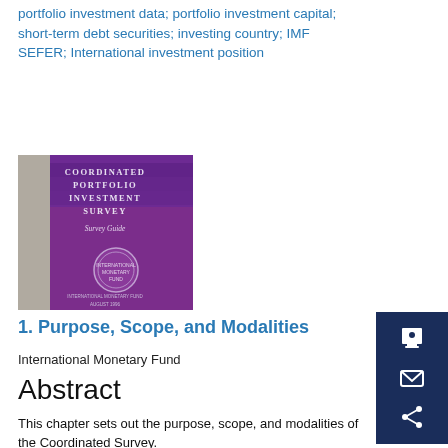portfolio investment data; portfolio investment capital; short-term debt securities; investing country; IMF SEFER; International investment position
[Figure (illustration): Book cover of 'Coordinated Portfolio Investment Survey Guide' published by the International Monetary Fund, August 1996. Purple and grey cover with IMF logo.]
1. Purpose, Scope, and Modalities
International Monetary Fund
Abstract
This chapter sets out the purpose, scope, and modalities of the Coordinated Survey.